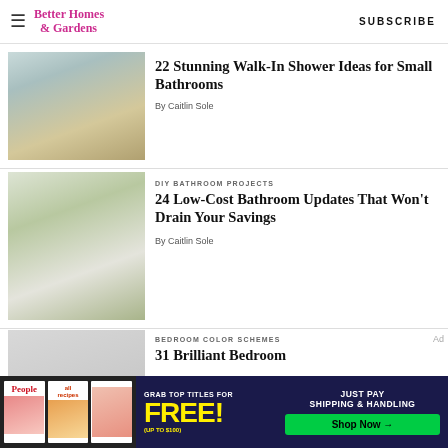Better Homes & Gardens | SUBSCRIBE
[Figure (photo): Bathroom with walk-in shower, vanity with flowers]
22 Stunning Walk-In Shower Ideas for Small Bathrooms
By Caitlin Sole
DIY BATHROOM PROJECTS
[Figure (photo): Green bathroom vanity with white sink and towel rack]
24 Low-Cost Bathroom Updates That Won't Drain Your Savings
By Caitlin Sole
BEDROOM COLOR SCHEMES
[Figure (photo): Bedroom partial view, grey tones]
31 Brilliant Bedroom
[Figure (infographic): Advertisement: Grab top titles for FREE (up to $100), just pay shipping & handling. Shop Now. People, allrecipes magazines shown.]